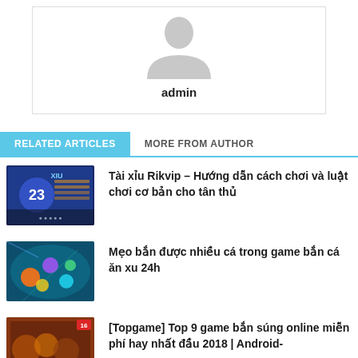[Figure (photo): Avatar placeholder image showing a grey silhouette of a person]
admin
RELATED ARTICLES   MORE FROM AUTHOR
[Figure (screenshot): Game thumbnail for Tài xỉu Rikvip article showing dice game with number 23]
Tài xỉu Rikvip – Hướng dẫn cách chơi và luật chơi cơ bản cho tân thủ
[Figure (screenshot): Game thumbnail for bắn cá article showing colorful fish shooting game]
Mẹo bắn được nhiều cá trong game bắn cá ăn xu 24h
[Figure (screenshot): Game thumbnail for Topgame article showing TopGame branded game image]
[Topgame] Top 9 game bắn súng online miễn phí hay nhất đầu 2018 | Android-